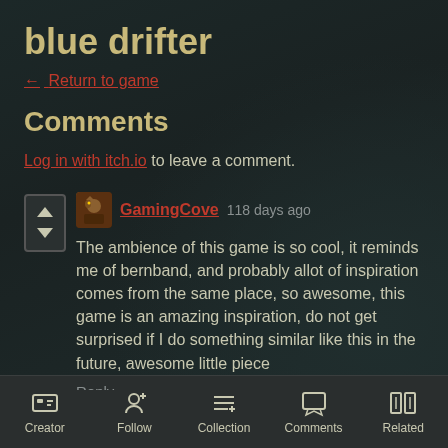blue drifter
← Return to game
Comments
Log in with itch.io to leave a comment.
GamingCove  118 days ago
The ambience of this game is so cool, it reminds me of bernband, and probably allot of inspiration comes from the same place, so awesome, this game is an amazing inspiration, do not get surprised if I do something similar like this in the future, awesome little piece
Reply
Creator  Follow  Collection  Comments  Related